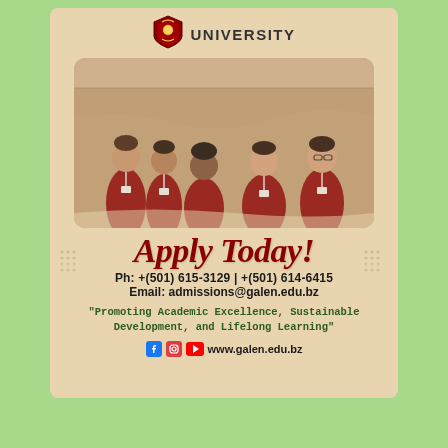[Figure (logo): University shield/crest logo with laurel wreath]
UNIVERSITY
[Figure (photo): Five university students in dark red/maroon polo shirts with lanyards, smiling and posing together in a hallway]
Apply Today!
Ph: +(501) 615-3129 | +(501) 614-6415
Email: admissions@galen.edu.bz
"Promoting Academic Excellence, Sustainable Development, and Lifelong Learning"
www.galen.edu.bz